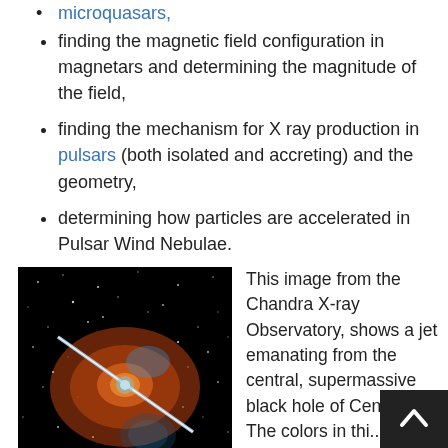microquasars,
finding the magnetic field configuration in magnetars and determining the magnitude of the field,
finding the mechanism for X ray production in pulsars (both isolated and accreting) and the geometry,
determining how particles are accelerated in Pulsar Wind Nebulae.
[Figure (photo): Chandra X-ray Observatory image showing a jet emanating from the central supermassive black hole of Centaurus A, with orange, blue and white colors against a black star field background.]
This image from the Chandra X-ray Observatory, shows a jet emanating from the central, supermassive black hole of Centauru... The colors in thi...